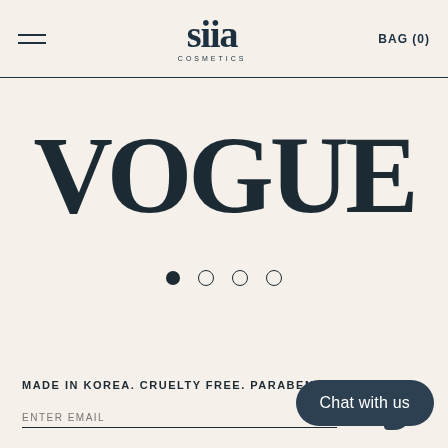siia COSMETICS | BAG (0)
[Figure (logo): VOGUE logo in large bold serif font, centered, with carousel dots below (1 filled, 3 empty)]
MADE IN KOREA. CRUELTY FREE. PARABEN...
ENTER EMAIL
Chat with us